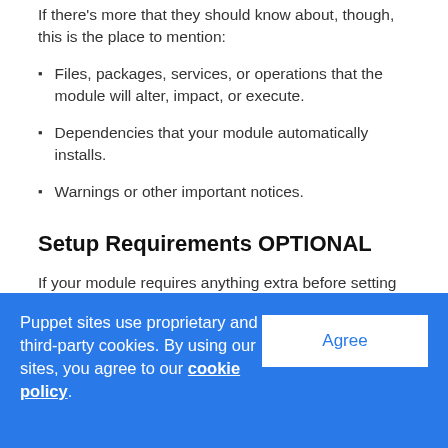If there's more that they should know about, though, this is the place to mention:
Files, packages, services, or operations that the module will alter, impact, or execute.
Dependencies that your module automatically installs.
Warnings or other important notices.
Setup Requirements OPTIONAL
If your module requires anything extra before setting up (pluginsync enabled, another module, etc.), mention it here.
Puppet sites use proprietary and third-party cookies. By using our sites, you agree to our cookie policy.